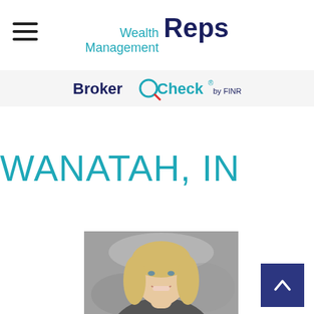Wealth Management Reps
[Figure (logo): BrokerCheck by FINRA logo with magnifying glass icon]
WANATAH, IN
[Figure (photo): Professional headshot of a blonde woman smiling, with a grey mottled background]
[Figure (other): Back to top arrow button, dark navy blue background with white chevron pointing up]